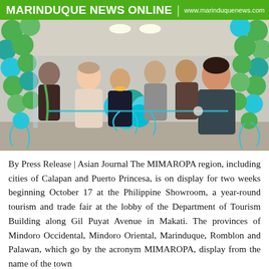MARINDUQUE NEWS ONLINE | www.marinduquenews.com
[Figure (photo): Group of people at a ribbon-cutting ceremony with green and teal balloons decorating the venue. Several officials pose together, one woman cutting a teal ribbon.]
By Press Release | Asian Journal The MIMAROPA region, including cities of Calapan and Puerto Princesa, is on display for two weeks beginning October 17 at the Philippine Showroom, a year-round tourism and trade fair at the lobby of the Department of Tourism Building along Gil Puyat Avenue in Makati. The provinces of Mindoro Occidental, Mindoro Oriental, Marinduque, Romblon and Palawan, which go by the acronym MIMAROPA, display from the name of the town...